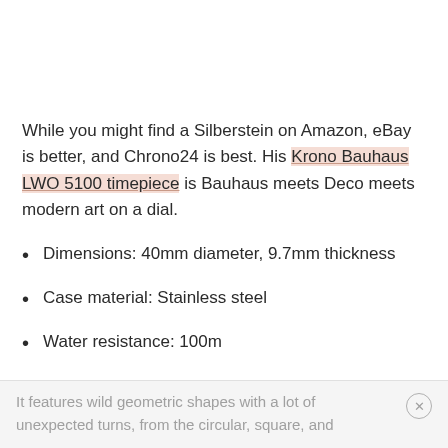While you might find a Silberstein on Amazon, eBay is better, and Chrono24 is best. His Krono Bauhaus LWO 5100 timepiece is Bauhaus meets Deco meets modern art on a dial.
Dimensions: 40mm diameter, 9.7mm thickness
Case material: Stainless steel
Water resistance: 100m
It features wild geometric shapes with a lot of unexpected turns, from the circular, square, and